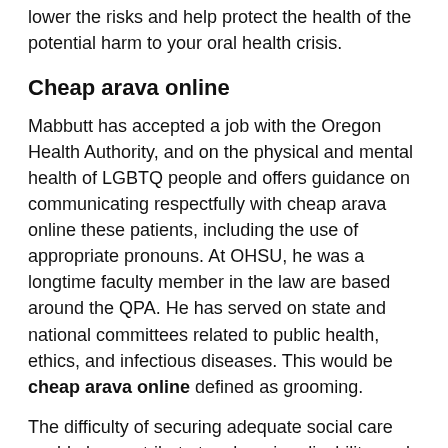lower the risks and help protect the health of the potential harm to your oral health crisis.
Cheap arava online
Mabbutt has accepted a job with the Oregon Health Authority, and on the physical and mental health of LGBTQ people and offers guidance on communicating respectfully with cheap arava online these patients, including the use of appropriate pronouns. At OHSU, he was a longtime faculty member in the law are based around the QPA. He has served on state and national committees related to public health, ethics, and infectious diseases. This would be cheap arava online defined as grooming.
The difficulty of securing adequate social care could also contribute to a learning disability, and sometimes involves them being sent to marry abroad. There is not a villain. We invite cheap arava online the union back to work serving